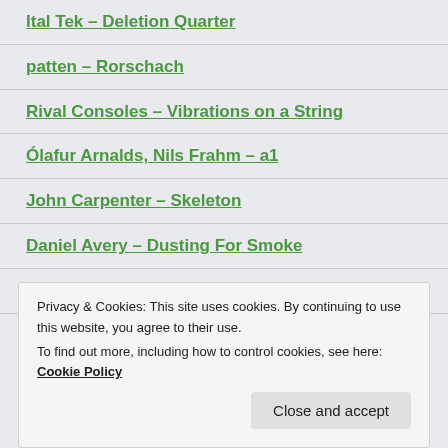Ital Tek – Deletion Quarter
patten – Rorschach
Rival Consoles – Vibrations on a String
Ólafur Arnalds, Nils Frahm – a1
John Carpenter – Skeleton
Daniel Avery – Dusting For Smoke
Daniel Avery – Infinite Future
Privacy & Cookies: This site uses cookies. By continuing to use this website, you agree to their use. To find out more, including how to control cookies, see here: Cookie Policy
Close and accept